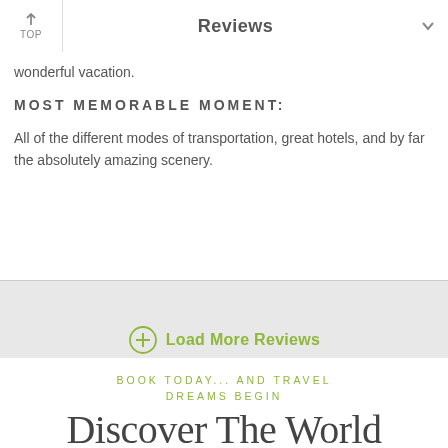↑ TOP | Reviews ∨
wonderful vacation.
MOST MEMORABLE MOMENT:
All of the different modes of transportation, great hotels, and by far the absolutely amazing scenery.
⊕ Load More Reviews
BOOK TODAY... AND TRAVEL DREAMS BEGIN
Discover The World